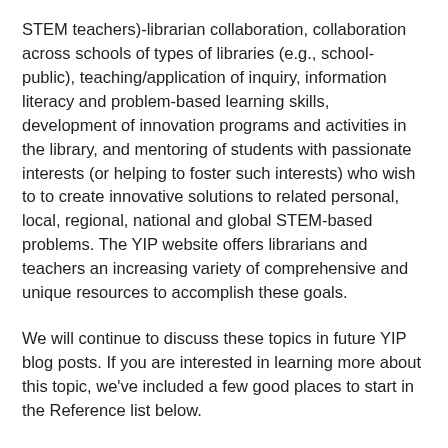STEM teachers)-librarian collaboration, collaboration across schools of types of libraries (e.g., school-public), teaching/application of inquiry, information literacy and problem-based learning skills, development of innovation programs and activities in the library, and mentoring of students with passionate interests (or helping to foster such interests) who wish to to create innovative solutions to related personal, local, regional, national and global STEM-based problems. The YIP website offers librarians and teachers an increasing variety of comprehensive and unique resources to accomplish these goals.
We will continue to discuss these topics in future YIP blog posts. If you are interested in learning more about this topic, we've included a few good places to start in the Reference list below.
See you next time!